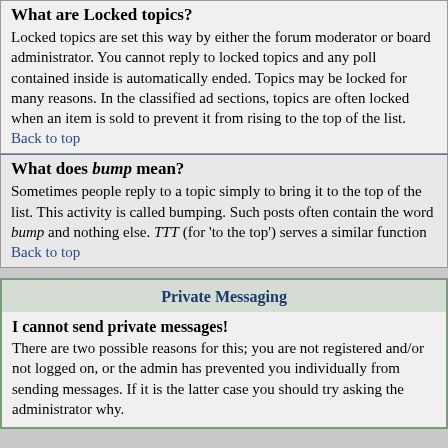What are Locked topics?
Locked topics are set this way by either the forum moderator or board administrator. You cannot reply to locked topics and any poll contained inside is automatically ended. Topics may be locked for many reasons. In the classified ad sections, topics are often locked when an item is sold to prevent it from rising to the top of the list.
Back to top
What does bump mean?
Sometimes people reply to a topic simply to bring it to the top of the list. This activity is called bumping. Such posts often contain the word bump and nothing else. TTT (for 'to the top') serves a similar function
Back to top
Private Messaging
I cannot send private messages!
There are two possible reasons for this; you are not registered and/or not logged on, or the admin has prevented you individually from sending messages. If it is the latter case you should try asking the administrator why.